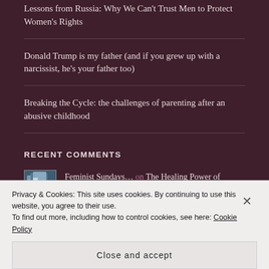Lessons from Russia: Why We Can't Trust Men to Protect Women's Rights
Donald Trump is my father (and if you grew up with a narcissist, he's your father too)
Breaking the Cycle: the challenges of parenting after an abusive childhood
RECENT COMMENTS
Feminist Sundays... on The Healing Power of #MeToo
Privacy & Cookies: This site uses cookies. By continuing to use this website, you agree to their use.
To find out more, including how to control cookies, see here: Cookie Policy
Close and accept